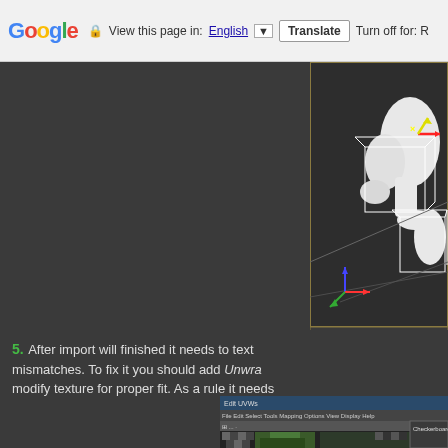[Figure (screenshot): Google Translate toolbar at top of browser showing 'View this page in: English [dropdown] Translate | Turn off for: R']
[Figure (screenshot): 3ds Max viewport showing a 3D character model (white humanoid figure) with rigging bones/boxes visible, gizmo axes (red/yellow/green), timeline bar showing 0/100, ruler, MAXScript Mini Listener bar, and status bar with 'Click and drag to select and m' text]
5. After import will finished it needs to text mismatches. To fix it you should add Unwra modify texture for proper fit. As a rule it needs
[Figure (screenshot): Edit UVW dialog / texture mapping editor showing a checkered pattern with foliage/tree texture being mapped]